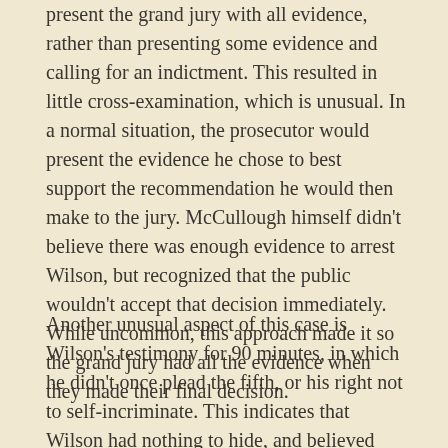present the grand jury with all evidence, rather than presenting some evidence and calling for an indictment. This resulted in little cross-examination, which is unusual. In a normal situation, the prosecutor would present the evidence he chose to best support the recommendation he would then make to the jury. McCullough himself didn't believe there was enough evidence to arrest Wilson, but recognized that the public wouldn't accept that decision immediately. While uncommon, this approach made it so the grand jury had all the evidence when they made their final decision.
Another unusual aspect of this case is Wilson's testimony for 90 minutes, in which he didn't once plead the fifth, or his right not to self-incriminate. This indicates that Wilson had nothing to hide, and believed himself to be innocent.